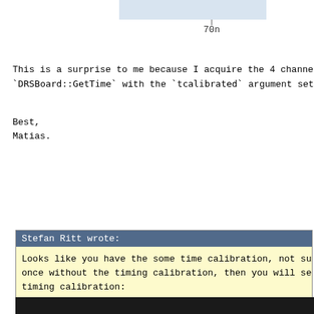[Figure (continuous-plot): Partial oscilloscope/waveform chart showing x-axis tick labels 70n and 72n, with light blue shaded waveform region at top of page]
This is a surprise to me because I acquire the 4 channe
`DRSBoard::GetTime` with the `tcalibrated` argument set
Best,
Matias.
Stefan Ritt wrote:
Looks like you have the some time calibration, not sure if
once without the timing calibration, then you will see if a
timing calibration:
[Figure (screenshot): Dark oscilloscope screenshot at bottom]